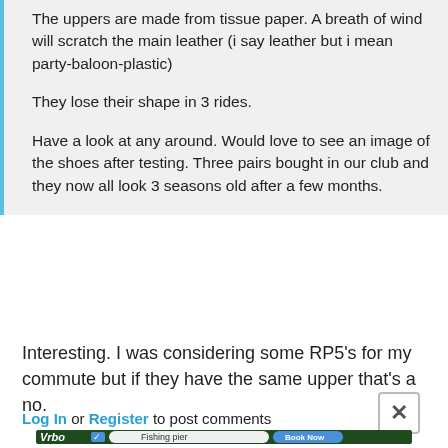The uppers are made from tissue paper. A breath of wind will scratch the main leather (i say leather but i mean party-baloon-plastic)
They lose their shape in 3 rides.
Have a look at any around. Would love to see an image of the shoes after testing. Three pairs bought in our club and they now all look 3 seasons old after a few months.
Interesting. I was considering some RP5's for my commute but if they have the same upper that's a no.
Log In or Register to post comments
[Figure (screenshot): Vrbo advertisement banner with Fishing pier search input and Book Now button]